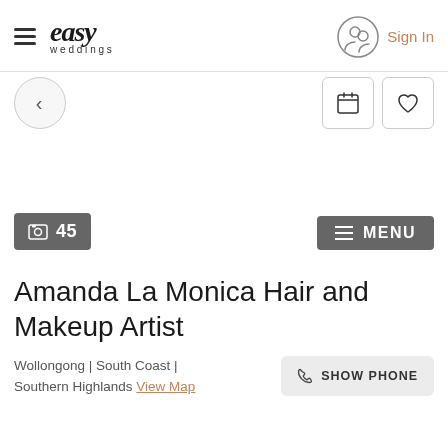easy weddings | Sign In
[Figure (screenshot): Navigation bar with back arrow button and calendar/heart icon buttons]
[Figure (screenshot): Large image area (white/blank) with a dark grey button showing '45' photos count on the left and a dark grey MENU button on the right]
Amanda La Monica Hair and Makeup Artist
Wollongong | South Coast | Southern Highlands  View Map
[Figure (screenshot): SHOW PHONE button in light grey]